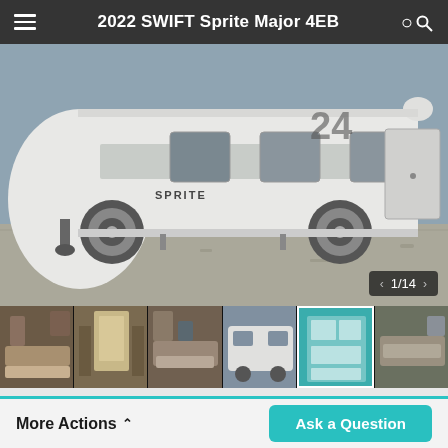2022 SWIFT Sprite Major 4EB
[Figure (photo): Side view of a 2022 Swift Sprite Major 4EB white caravan parked on gravel, with SPRITE branding visible on the bodywork]
[Figure (photo): Thumbnail strip showing 6 interior and exterior photos of the caravan, with image counter showing 1/14]
More Actions
Ask a Question